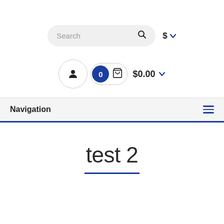[Figure (screenshot): Search bar with magnifying glass icon and currency dropdown showing $ with chevron]
[Figure (screenshot): User account circle icon, cart pill with blue badge showing 0 and basket icon, and $0.00 total with dropdown chevron]
Navigation
test 2